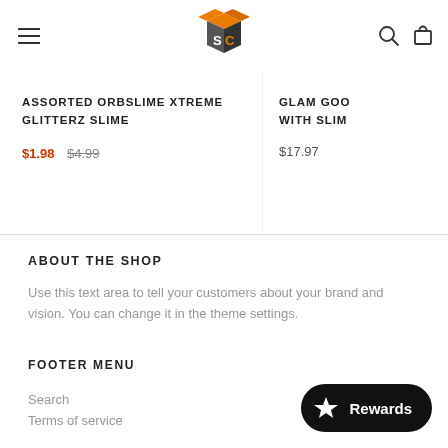SC Store logo with hamburger menu, search and cart icons
ASSORTED ORBSLIME XTREME GLITTERZ SLIME
$1.98  $4.99
GLAM GOO WITH SLIM
$17.97
ABOUT THE SHOP
Use this text area to tell your customers about your brand and vision. You can change it in the theme settings.
FOOTER MENU
Search
Terms of service
Rewards